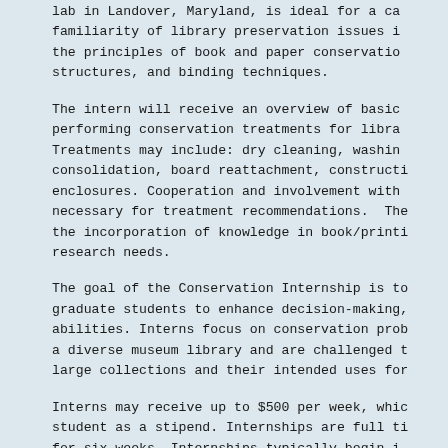lab in Landover, Maryland, is ideal for a ca familiarity of library preservation issues i the principles of book and paper conservatio structures, and binding techniques.
The intern will receive an overview of basic performing conservation treatments for libra Treatments may include: dry cleaning, washin consolidation, board reattachment, constructi enclosures. Cooperation and involvement with necessary for treatment recommendations. Th the incorporation of knowledge in book/printi research needs.
The goal of the Conservation Internship is t graduate students to enhance decision-making, abilities. Interns focus on conservation prob a diverse museum library and are challenged t large collections and their intended uses for
Interns may receive up to $500 per week, whic student as a stipend. Internships are full ti for six weeks. Internships typically begin i though exact dates are flexible.